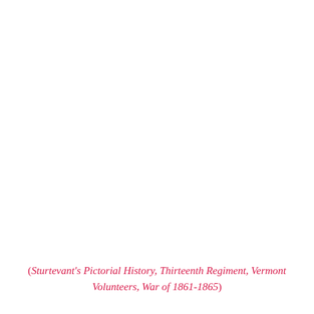(Sturtevant's Pictorial History, Thirteenth Regiment, Vermont Volunteers, War of 1861-1865)